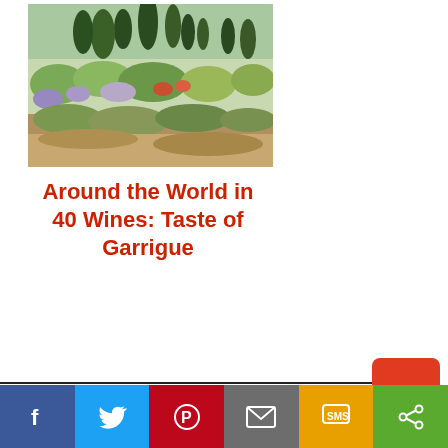[Figure (photo): Outdoor garden/garrigue landscape with Mediterranean shrubs, herbs, lavender, and cypress trees in the background under a bright sky]
Around the World in 40 Wines: Taste of Garrigue
[Figure (infographic): Social share bar at bottom with Facebook, Twitter, Pinterest, Email, SMS, and Share buttons; TOP back-to-top button in red]